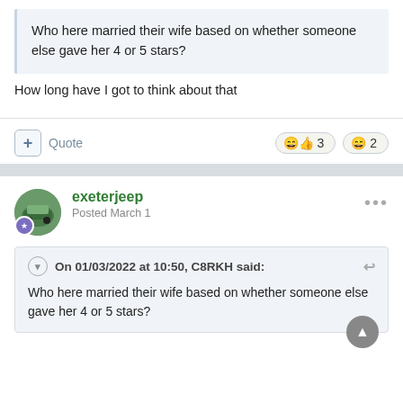Who here married their wife based on whether someone else gave her 4 or 5 stars?
How long have I got to think about that
exeterjeep
Posted March 1
On 01/03/2022 at 10:50, C8RKH said:
Who here married their wife based on whether someone else gave her 4 or 5 stars?